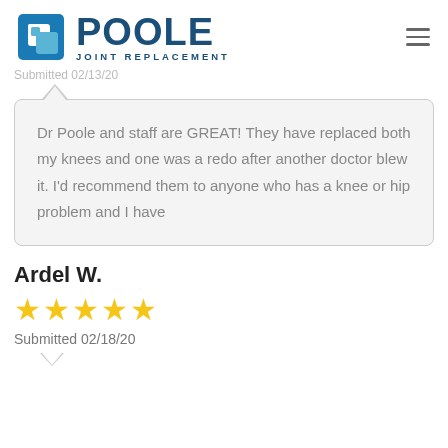[Figure (logo): Poole Joint Replacement logo with geometric square icon and bold text]
Submitted 02/13/20
Dr Poole and staff are GREAT! They have replaced both my knees and one was a redo after another doctor blew it. I'd recommend them to anyone who has a knee or hip problem and I have
Ardel W.
[Figure (other): 5 gold star rating]
Submitted 02/18/20